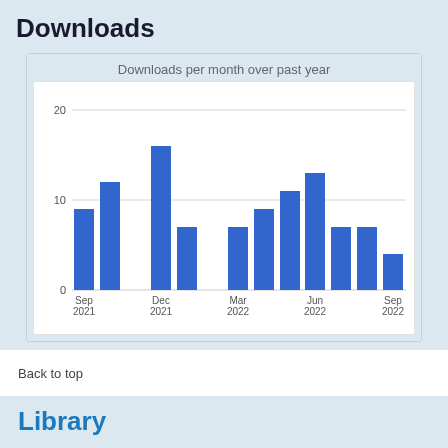Downloads
[Figure (bar-chart): Downloads per month over past year]
Back to top
Library